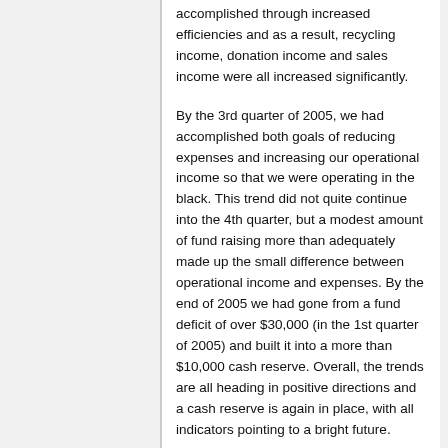accomplished through increased efficiencies and as a result, recycling income, donation income and sales income were all increased significantly.
By the 3rd quarter of 2005, we had accomplished both goals of reducing expenses and increasing our operational income so that we were operating in the black. This trend did not quite continue into the 4th quarter, but a modest amount of fund raising more than adequately made up the small difference between operational income and expenses. By the end of 2005 we had gone from a fund deficit of over $30,000 (in the 1st quarter of 2005) and built it into a more than $10,000 cash reserve. Overall, the trends are all heading in positive directions and a cash reserve is again in place, with all indicators pointing to a bright future.